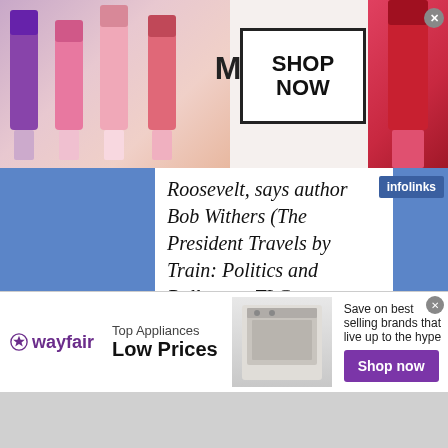[Figure (illustration): MAC Cosmetics advertisement banner with lipsticks, MAC logo, and SHOP NOW box]
Roosevelt, says author Bob Withers (The President Travels by Train: Politics and Pullmans; TLC Publishing). During his 12 White House years, Roosevelt set the all-time record of 243,827 miles by rail, most of them at a leisurely pace, wandering through America, luxuriating in the vast beauty, campaigning, inspecting Depression-era projects and, later, defense plants. Then came Truman
[Figure (illustration): Wayfair Top Appliances Low Prices advertisement with appliance image and Shop now button]